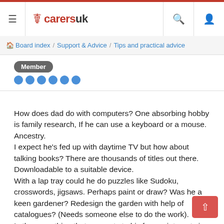carersuk
Board index / Support & Advice / Tips and practical advice
Member
How does dad do with computers? One absorbing hobby is family research, If he can use a keyboard or a mouse. Ancestry.
I expect he's fed up with daytime TV but how about talking books? There are thousands of titles out there. Downloadable to a suitable device.
With a lap tray could he do puzzles like Sudoku, crosswords, jigsaws. Perhaps paint or draw? Was he a keen gardener? Redesign the garden with help of catalogues? (Needs someone else to do the work).
Is there anything that connects to his former interests in any way?
Is dad able to have any more surgery to restore any protection to his chest?